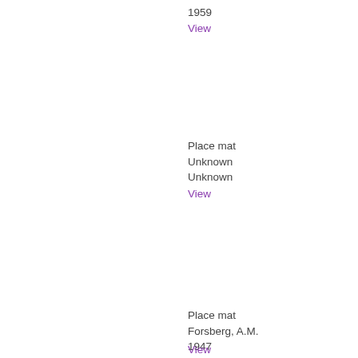1959
View
Place mat
Unknown
Unknown
View
Place mat
Forsberg, A.M.
1947
View